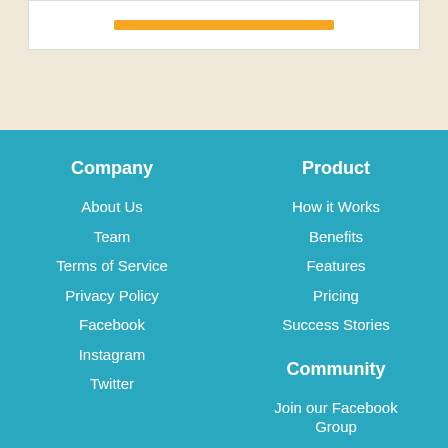Company
About Us
Team
Terms of Service
Privacy Policy
Facebook
Instagram
Twitter
Product
How it Works
Benefits
Features
Pricing
Success Stories
Community
Join our Facebook Group
Online Community